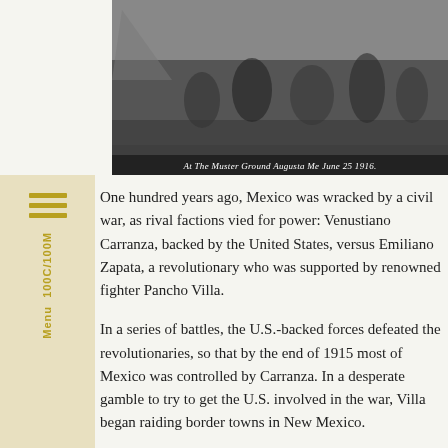[Figure (photo): Black and white historical photograph of soldiers or men at a camp, with caption 'At The Muster Ground Augusta Me June 25 1916']
One hundred years ago, Mexico was wracked by a civil war, as rival factions vied for power: Venustiano Carranza, backed by the United States, versus Emiliano Zapata, a revolutionary who was supported by renowned fighter Pancho Villa.
In a series of battles, the U.S.-backed forces defeated the revolutionaries, so that by the end of 1915 most of Mexico was controlled by Carranza. In a desperate gamble to try to get the U.S. involved in the war, Villa began raiding border towns in New Mexico.
In response, the U.S. commander of Fort Bliss, Brigadier General John J. Pershing, mounted raids — to which there were counter-raids — into 1916. Tensions between